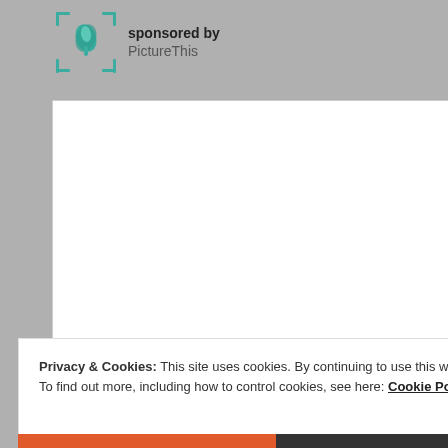[Figure (logo): PictureThis app logo — a teal flower/leaf icon inside a square bracket frame]
sponsored by
PictureThis
[Figure (other): White blank advertisement frame with border]
Privacy & Cookies: This site uses cookies. By continuing to use this website, you agree to their use.
To find out more, including how to control cookies, see here: Cookie Policy
Close and accept